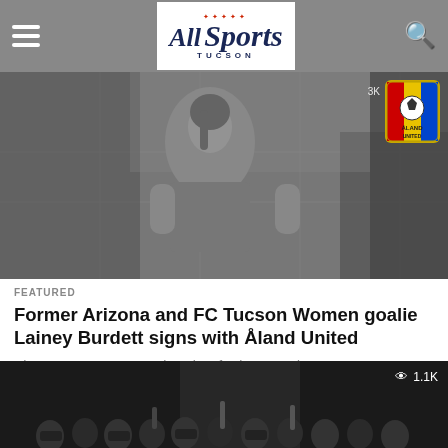All Sports Tucson
[Figure (photo): Black and white photo of female soccer goalkeeper Lainey Burdett with Åland United badge in top right corner and 3K views indicator]
FEATURED
Former Arizona and FC Tucson Women goalie Lainey Burdett signs with Åland United
Share Tweet Former University of Arizona and FC Tucson Women keeper Lainey Burdett signed on to play for Åland United last week....
[Figure (photo): Black and white photo of group of women with hands raised, 1.1K views indicator in top right]